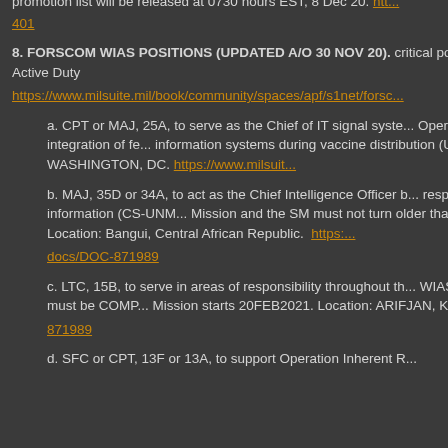Advocate General's Corps (JAGC). The Prepositioning Notification promotion list will be released at 0730 hours EST, 8 Dec 20. https://...401
8. FORSCOM WIAS POSITIONS (UPDATED A/O 30 NOV 20). critical position (Compo 1, 2, and 3; AGR, IMA, and Active Duty https://www.milsuite.mil/book/community/spaces/apf/s1net/forscom-wias
a. CPT or MAJ, 25A, to serve as the Chief of IT signal systems, Operation Warp Speed (OWS) in managing the integration of federal information systems during vaccine distribution (UB--OWS-004... 07DEC2020. Location: WASHINGTON, DC. https://www.milsuit...
b. MAJ, 35D or 34A, to act as the Chief Intelligence Officer b... respect to all matters pertaining to military information (CS-UNM... Mission and the SM must not turn older than 55 at any point du... 10APR2021. Location: Bangui, Central African Republic. https://... docs/DOC-871989
c. LTC, 15B, to serve in areas of responsibility throughout th... WIAS-00423-01). Interested Service Members must be COMP... Mission starts 20FEB2021. Location: ARIFJAN, Kuwait. https:/...871989
d. SFC or CPT, 13F or 13A, to support Operation Inherent R...